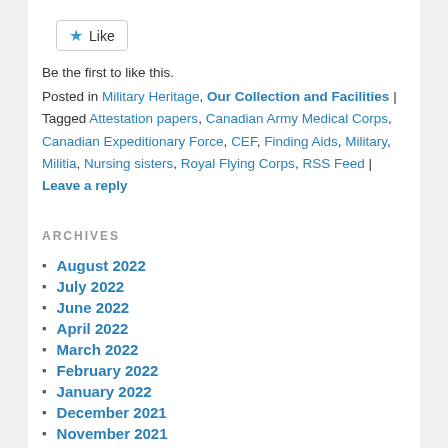[Figure (other): Like button with star icon]
Be the first to like this.
Posted in Military Heritage, Our Collection and Facilities | Tagged Attestation papers, Canadian Army Medical Corps, Canadian Expeditionary Force, CEF, Finding Aids, Military, Militia, Nursing sisters, Royal Flying Corps, RSS Feed | Leave a reply
ARCHIVES
August 2022
July 2022
June 2022
April 2022
March 2022
February 2022
January 2022
December 2021
November 2021
October 2021
August 2021
July 2021